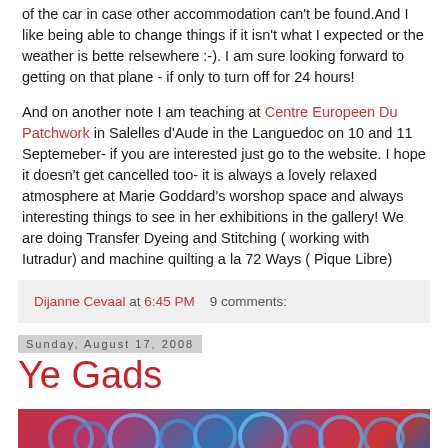of the car in case other accommodation can't be found.And I like being able to change things if it isn't what I expected or the weather is bette relsewhere :-). I am sure looking forward to getting on that plane - if only to turn off for 24 hours!
And on another note I am teaching at Centre Europeen Du Patchwork in Salelles d'Aude in the Languedoc on 10 and 11 Septemeber- if you are interested just go to the website. I hope it doesn't get cancelled too- it is always a lovely relaxed atmosphere at Marie Goddard's worshop space and always interesting things to see in her exhibitions in the gallery! We are doing Transfer Dyeing and Stitching ( working with Iutradur) and machine quilting a la 72 Ways ( Pique Libre)
Dijanne Cevaal at 6:45 PM   9 comments:
Sunday, August 17, 2008
Ye Gads
[Figure (photo): Decorative textile/fabric strip with swirling blue patterns on red background]